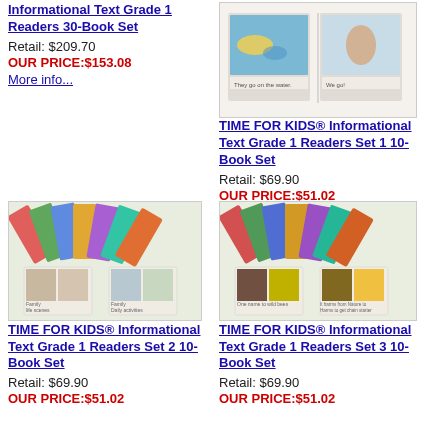Informational Text Grade 1 Readers 30-Book Set
Retail: $209.70
OUR PRICE:$153.08
More info...
[Figure (photo): Book set product image showing two open books on water scenes]
TIME FOR KIDS® Informational Text Grade 1 Readers Set 1 10-Book Set
Retail: $69.90
OUR PRICE:$51.02
[Figure (photo): Book set fan display with open books showing family scenes]
[Figure (photo): Book set fan display with open books showing nature scenes]
TIME FOR KIDS® Informational Text Grade 1 Readers Set 2 10-Book Set
Retail: $69.90
OUR PRICE:$51.02
TIME FOR KIDS® Informational Text Grade 1 Readers Set 3 10-Book Set
Retail: $69.90
OUR PRICE:$51.02